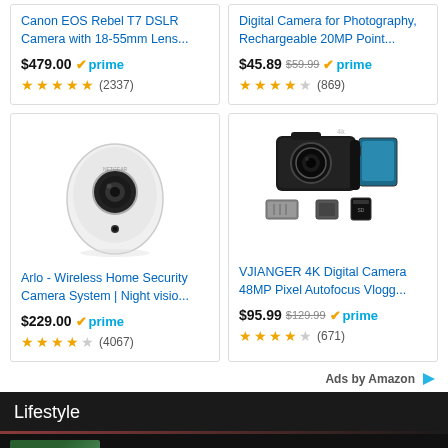Canon EOS Rebel T7 DSLR Camera with 18-55mm Lens...
$479.00 prime
★★★★★ (2337)
Digital Camera for Photography, Rechargeable 20MP Point...
$45.89 $59.99 prime
★★★★☆ (869)
[Figure (photo): Arlo wireless home security camera - white egg-shaped camera device]
Arlo - Wireless Home Security Camera System | Night visio...
$229.00 prime
★★★★☆ (4067)
[Figure (photo): VJIANGER 4K digital camera black with accessories including batteries and SD card]
VJIANGER 4K Digital Camera 48MP Pixel Autofocus Vlogg...
$95.99 $129.99 prime
★★★★☆ (671)
Ads by Amazon
Lifestyle
11 of the best baby monitors for